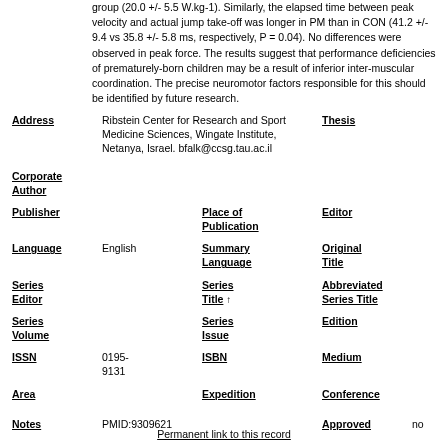group (20.0 +/- 5.5 W.kg-1). Similarly, the elapsed time between peak velocity and actual jump take-off was longer in PM than in CON (41.2 +/- 9.4 vs 35.8 +/- 5.8 ms, respectively, P = 0.04). No differences were observed in peak force. The results suggest that performance deficiencies of prematurely-born children may be a result of inferior inter-muscular coordination. The precise neuromotor factors responsible for this should be identified by future research.
| Address | Ribstein Center for Research and Sport Medicine Sciences, Wingate Institute, Netanya, Israel. bfalk@ccsg.tau.ac.il |  | Thesis |  |
| Corporate Author |  |  |  |  |
| Publisher |  | Place of Publication | Editor |  |
| Language | English | Summary Language | Original Title |  |
| Series Editor |  | Series Title ↑ | Abbreviated Series Title |  |
| Series Volume |  | Series Issue | Edition |  |
| ISSN | 0195-9131 | ISBN | Medium |  |
| Area |  | Expedition | Conference |  |
| Notes | PMID:9309621 |  | Approved | no |
| Call Number |  |  | Serial | 64 |
Permanent link to this record